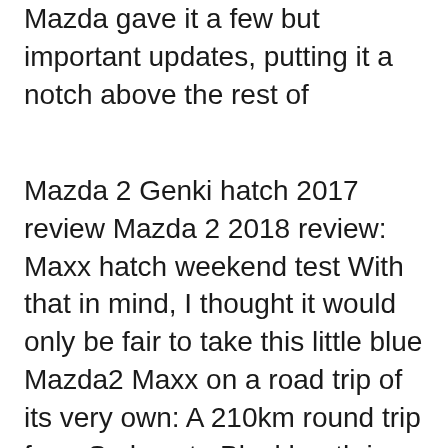Mazda gave it a few but important updates, putting it a notch above the rest of
Mazda 2 Genki hatch 2017 review Mazda 2 2018 review: Maxx hatch weekend test With that in mind, I thought it would only be fair to take this little blue Mazda2 Maxx on a road trip of its very own: A 210km round trip from Sydney to Blackheath in the Blue Mountains over the course of a weekend. Dec 29, 2017 · 2019 Mazda 2 – Debut and Cost. Mazda has remained silent regarding the 2019 Mazda 2 pricing and release date. However, a well-placed source said the next Mazda is likely to arrive in the second half of